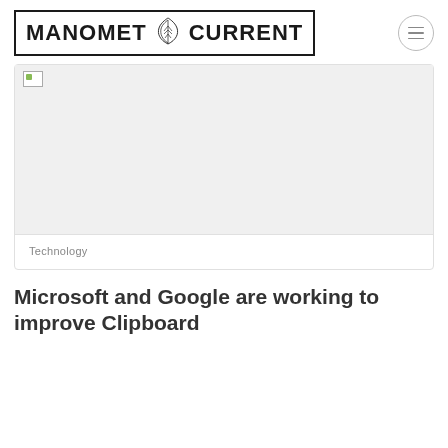MANOMET CURRENT
[Figure (other): Broken image placeholder in a card area, light gray background]
Technology
Microsoft and Google are working to improve Clipboard